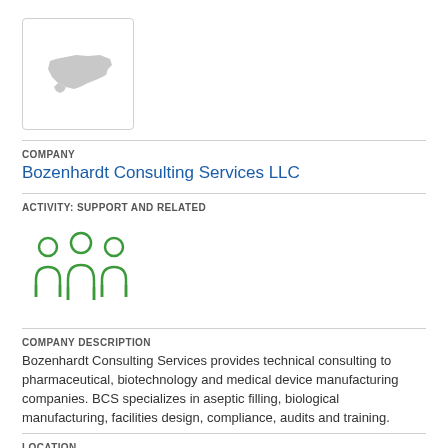[Figure (logo): Company logo placeholder — white box with gray North Carolina state silhouette outline]
COMPANY
Bozenhardt Consulting Services LLC
ACTIVITY: SUPPORT AND RELATED
[Figure (illustration): Green icon of three people/group silhouettes representing support and related activity]
COMPANY DESCRIPTION
Bozenhardt Consulting Services provides technical consulting to pharmaceutical, biotechnology and medical device manufacturing companies. BCS specializes in aseptic filling, biological manufacturing, facilities design, compliance, audits and training.
LOCATION